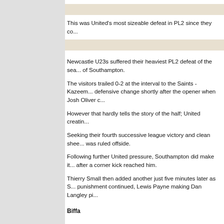This was United's most sizeable defeat in PL2 since they co...
Newcastle U23s suffered their heaviest PL2 defeat of the sea... of Southampton.
The visitors trailed 0-2 at the interval to the Saints - Kazeem... defensive change shortly after the opener when Josh Oliver c...
However that hardly tells the story of the half; United creatin...
Seeking their fourth successive league victory and clean shee... was ruled offside.
Following further United pressure, Southampton did make it... after a corner kick reached him.
Thierry Small then added another just five minutes later as S... punishment continued, Lewis Payne making Dan Langley pi...
Biffa